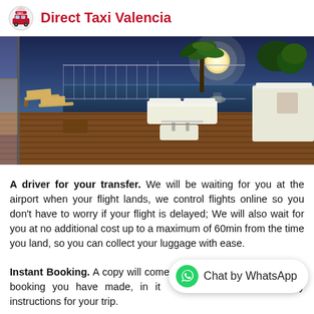Direct Taxi Valencia
[Figure (photo): Luxury rooftop terrace at night with lounge chairs, white sofas, wooden deck, palm trees, ocean view with full moon rising]
A driver for your transfer. We will be waiting for you at the airport when your flight lands, we control flights online so you don't have to worry if your flight is delayed; We will also wait for you at no additional cost up to a maximum of 60min from the time you land, so you can collect your luggage with ease.
Instant Booking. A copy will come to your email, with the online booking you have made, in it you will find all the necessary instructions for your trip.
Pay now or to the driver. With the exception of minivans (8 pax) that